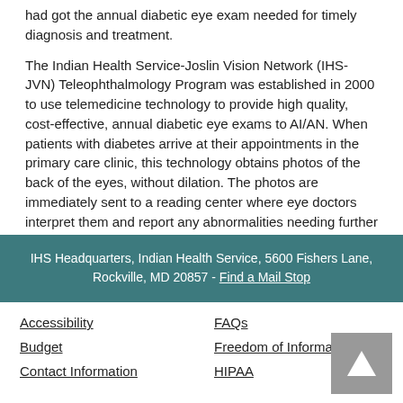…had got the annual diabetic eye exam needed for timely diagnosis and treatment.
The Indian Health Service-Joslin Vision Network (IHS-JVN) Teleophthalmology Program was established in 2000 to use telemedicine technology to provide high quality, cost-effective, annual diabetic eye exams to AI/AN. When patients with diabetes arrive at their appointments in the primary care clinic, this technology obtains photos of the back of the eyes, without dilation. The photos are immediately sent to a reading center where eye doctors interpret them and report any abnormalities needing further evaluation and possible treatment. This program has significantly contributed to a decrease in diabetes related vision loss and blindness in AI/AN through improved compliance with standards of care.
IHS Headquarters, Indian Health Service, 5600 Fishers Lane, Rockville, MD 20857 - Find a Mail Stop
Accessibility | Budget | Contact Information | FAQs | Freedom of Information Act | HIPAA